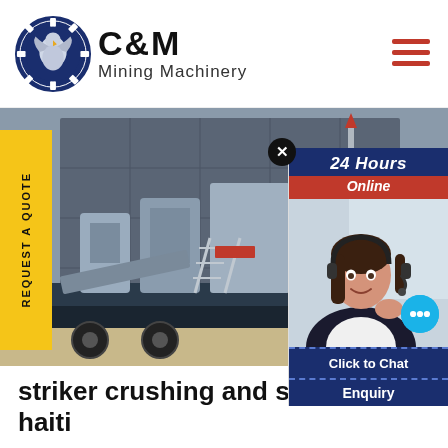[Figure (logo): C&M Mining Machinery logo with eagle gear emblem in navy blue circle, bold C&M text and Mining Machinery subtitle]
[Figure (photo): Heavy mining crushing and screening machinery on a truck, parked in front of a large industrial building]
[Figure (infographic): 24 Hours Online chat panel with female customer service representative wearing headset, Click to Chat button, and Enquiry section]
striker crushing and screening haiti